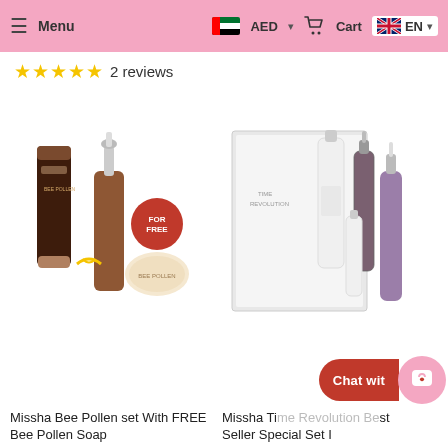Menu | AED | Cart | EN
★★★★★ 2 reviews
[Figure (photo): Missha Bee Pollen set with dropper bottle, cream tube, and a round soap labeled FOR FREE, tied with gold ribbon]
[Figure (photo): Missha Time Revolution Best Seller Special Set I — white box with multiple bottles and serum droppers]
Missha Bee Pollen set With FREE Bee Pollen Soap
Missha Time Revolution Best Seller Special Set I
Chat with